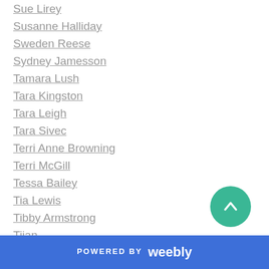Sue Lirey
Susanne Halliday
Sweden Reese
Sydney Jamesson
Tamara Lush
Tara Kingston
Tara Leigh
Tara Sivec
Terri Anne Browning
Terri McGill
Tessa Bailey
Tia Lewis
Tibby Armstrong
Tijan
Tillie Cole
TL Reeve & Michele Ryan
Tom Sweeney
POWERED BY weebly